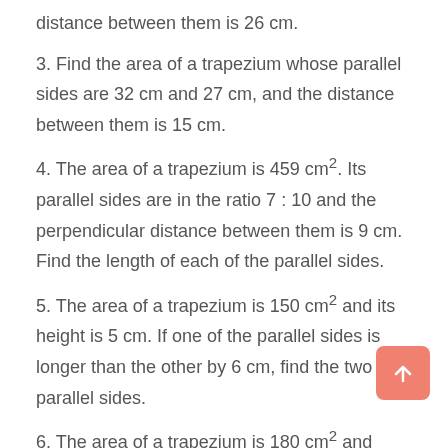distance between them is 26 cm.
3. Find the area of a trapezium whose parallel sides are 32 cm and 27 cm, and the distance between them is 15 cm.
4. The area of a trapezium is 459 cm². Its parallel sides are in the ratio 7 : 10 and the perpendicular distance between them is 9 cm. Find the length of each of the parallel sides.
5. The area of a trapezium is 150 cm² and its height is 5 cm. If one of the parallel sides is longer than the other by 6 cm, find the two parallel sides.
6. The area of a trapezium is 180 cm² and